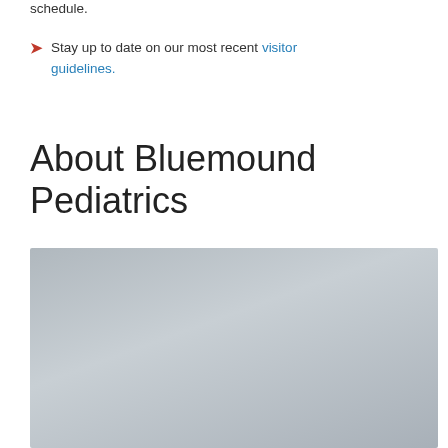schedule.
Stay up to date on our most recent visitor guidelines.
About Bluemound Pediatrics
[Figure (photo): Gray placeholder photo block, likely an image of Bluemound Pediatrics clinic or staff]